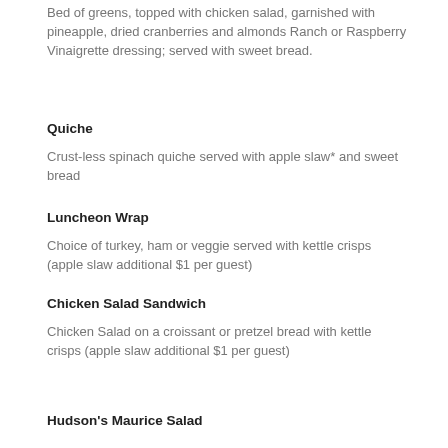Tea Garden Luncheon Salad
Bed of greens, topped with chicken salad, garnished with pineapple, dried cranberries and almonds Ranch or Raspberry Vinaigrette dressing; served with sweet bread.
Quiche
Crust-less spinach quiche served with apple slaw* and sweet bread
Luncheon Wrap
Choice of turkey, ham or veggie served with kettle crisps (apple slaw additional $1 per guest)
Chicken Salad Sandwich
Chicken Salad on a croissant or pretzel bread with kettle crisps (apple slaw additional $1 per guest)
Hudson's Maurice Salad